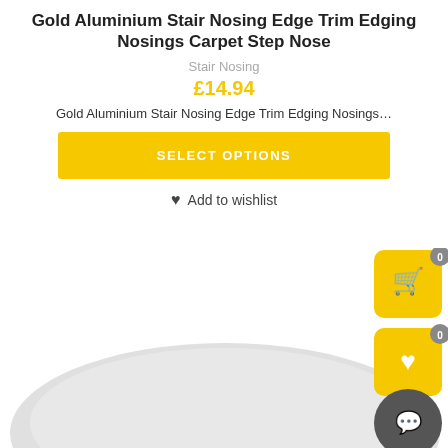Gold Aluminium Stair Nosing Edge Trim Edging Nosings Carpet Step Nose
Stair Nosing
£14.94
Gold Aluminium Stair Nosing Edge Trim Edging Nosings…
SELECT OPTIONS
Add to wishlist
[Figure (screenshot): Product image area showing a grey silhouette of a stair nosing product at the bottom of the page, plus floating action buttons on the right (cart with badge 0, wishlist heart with badge 0, and a chat/notify button)]